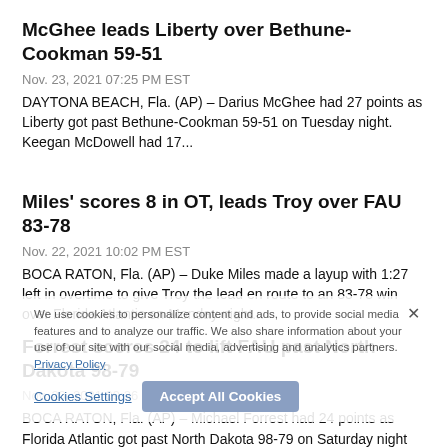McGhee leads Liberty over Bethune-Cookman 59-51
Nov. 23, 2021 07:25 PM EST
DAYTONA BEACH, Fla. (AP) – Darius McGhee had 27 points as Liberty got past Bethune-Cookman 59-51 on Tuesday night. Keegan McDowell had 17...
Miles' scores 8 in OT, leads Troy over FAU 83-78
Nov. 22, 2021 10:02 PM EST
BOCA RATON, Fla. (AP) – Duke Miles made a layup with 1:27 left in overtime to give Troy the lead en route to an 83-78 win over Florida Atlantic on Monday night...
Forrest scores 24 to lift FAU past North Dakota 98-79
Nov. 20, 2021 09:36 PM EST
BOCA RATON, Fla. (AP) – Michael Forrest had 24 points as Florida Atlantic got past North Dakota 98-79 on Saturday night